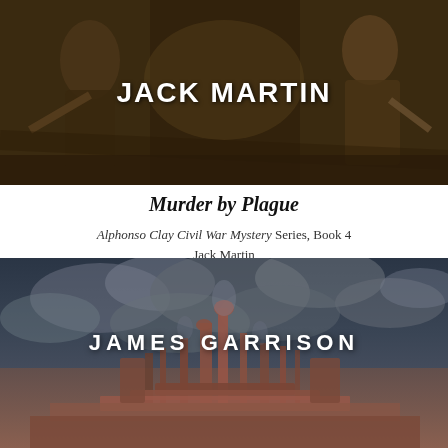[Figure (illustration): Book cover top portion showing a dark oil painting background with figures, with white bold text 'JACK MARTIN' centered]
Murder by Plague
Alphonso Clay Civil War Mystery Series, Book 4
Jack Martin
[Figure (illustration): Book cover bottom portion showing a dark industrial cityscape with smoke and brown-toned factory silhouettes, with white spaced text 'JAMES GARRISON' centered]